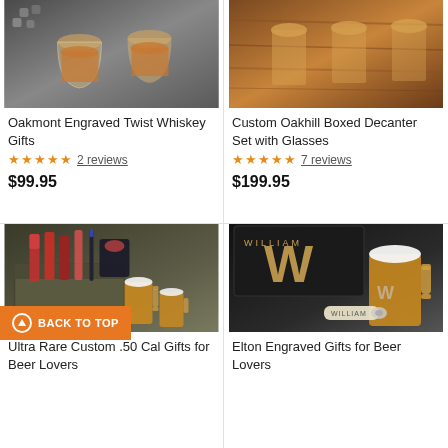[Figure (photo): Whiskey glasses with ice stones on dark background - Oakmont Engraved Twist Whiskey Gifts product photo]
Oakmont Engraved Twist Whiskey Gifts
★★★★★  2 reviews
$99.95
[Figure (photo): Custom Oakhill Boxed Decanter Set with Glasses on wooden table background]
Custom Oakhill Boxed Decanter Set with Glasses
★★★★★  7 reviews
$199.95
[Figure (photo): Ultra Rare Custom .50 Cal Gifts for Beer Lovers - ammo can with beer snacks and two beer mugs]
BACK TO TOP
Ultra Rare Custom .50 Cal Gifts for Beer Lovers
[Figure (photo): Elton Engraved Gifts for Beer Lovers - black wooden box personalized WILLIAM with beer mug and bottle opener]
Elton Engraved Gifts for Beer Lovers